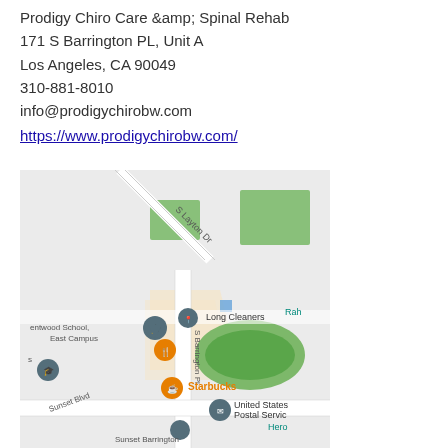Prodigy Chiro Care & Spinal Rehab
171 S Barrington PL, Unit A
Los Angeles, CA 90049
310-881-8010
info@prodigychirobw.com
https://www.prodigychirobw.com/
[Figure (map): Google Maps view showing S Barrington PL area in Los Angeles near Sunset Blvd, with markers for Long Cleaners, Starbucks, United States Postal Service, Sunset Barrington, and Brentwood School East Campus. S Layton Dr visible at top.]